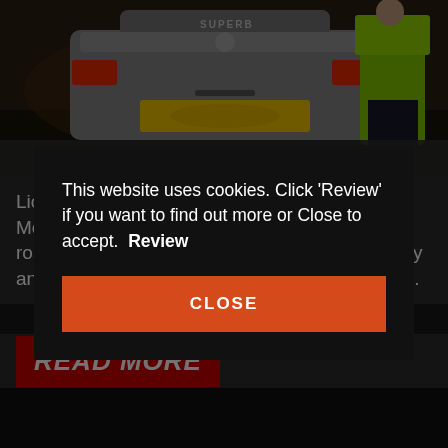[Figure (photo): Night-time photo of the rear of a silver car (Skoda Superb) with a yellow licence plate (partially obscured) and a person in a hi-visibility yellow jacket standing beside it.]
Licensing officers with colleagues from Merseyside Local Policing Team conducted roadside compliance inspections to check safety and legality of taxis operating in the City Centre.
READ MORE
This website uses cookies. Click 'Review' if you want to find out more or Close to accept.  Review
CLOSE